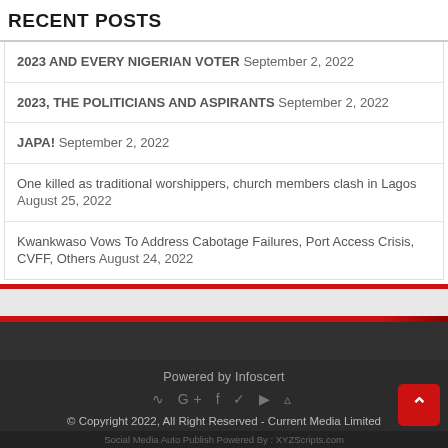RECENT POSTS
2023 AND EVERY NIGERIAN VOTER September 2, 2022
2023, THE POLITICIANS AND ASPIRANTS September 2, 2022
JAPA! September 2, 2022
One killed as traditional worshippers, church members clash in Lagos August 25, 2022
Kwankwaso Vows To Address Cabotage Failures, Port Access Crisis, CVFF, Others August 24, 2022
Powered by Infoscert
© Copyright 2022, All Right Reserved - Current Media Limited
Social Media Auto Publish Powered By : XYZScripts.com